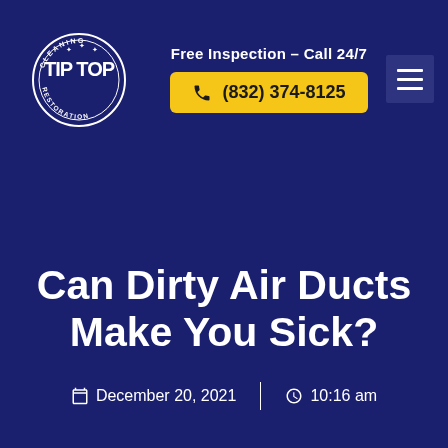Free Inspection – Call 24/7 | (832) 374-8125
Can Dirty Air Ducts Make You Sick?
December 20, 2021 | 10:16 am